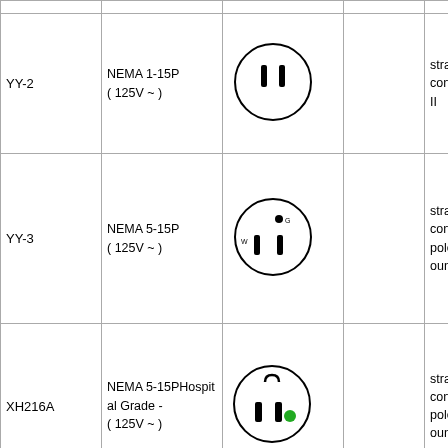| Model | Standard | Plug Diagram |  | Description |
| --- | --- | --- | --- | --- |
| YY-2 | NEMA 1-15P
( 125V ~ ) | [NEMA 1-15P plug diagram] |  | straight blade configuration class II |
| YY-3 | NEMA 5-15P
( 125V ~ ) | [NEMA 5-15P plug diagram] |  | straight blade configuration 2 pole 3 wire grounding |
| XH216A | NEMA 5-15PHospital Grade -
( 125V ~ ) | [NEMA 5-15P Hospital Grade plug diagram] |  | straight blade configuration 2 pole 3 wire grounding |
|  |  |  |  | locking c |